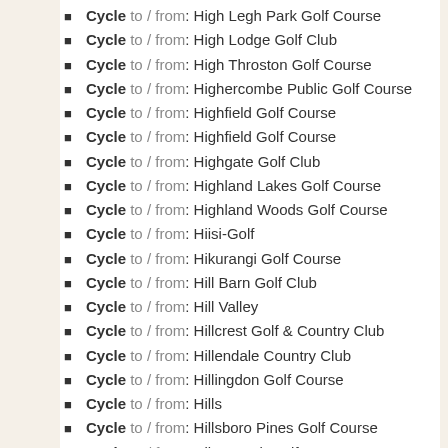Cycle to / from: High Legh Park Golf Course
Cycle to / from: High Lodge Golf Club
Cycle to / from: High Throston Golf Course
Cycle to / from: Highercombe Public Golf Course
Cycle to / from: Highfield Golf Course
Cycle to / from: Highfield Golf Course
Cycle to / from: Highgate Golf Club
Cycle to / from: Highland Lakes Golf Course
Cycle to / from: Highland Woods Golf Course
Cycle to / from: Hiisi-Golf
Cycle to / from: Hikurangi Golf Course
Cycle to / from: Hill Barn Golf Club
Cycle to / from: Hill Valley
Cycle to / from: Hillcrest Golf & Country Club
Cycle to / from: Hillendale Country Club
Cycle to / from: Hillingdon Golf Course
Cycle to / from: Hills
Cycle to / from: Hillsboro Pines Golf Course
Cycle to / from: Hilton Park Golf Course
Cycle to / from: Himalayan Golf Course
Cycle to / from: Himmerland